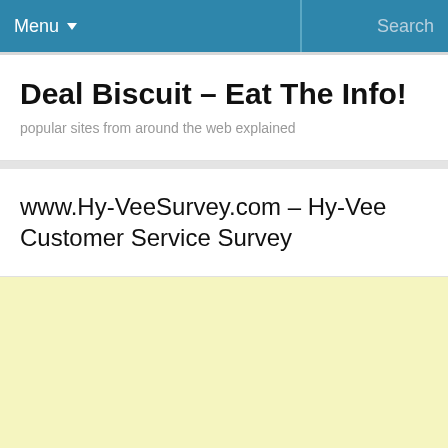Menu  Search
Deal Biscuit – Eat The Info!
popular sites from around the web explained
www.Hy-VeeSurvey.com – Hy-Vee Customer Service Survey
[Figure (other): Light yellow/cream colored background area filling the lower portion of the page]